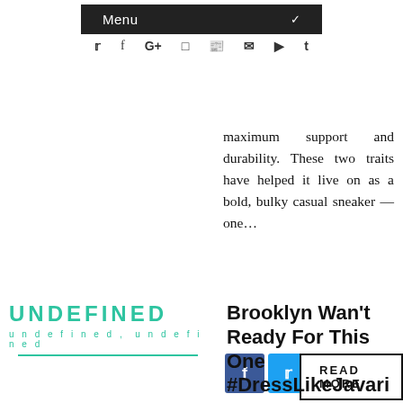Menu
maximum support and durability. These two traits have helped it live on as a bold, bulky casual sneaker — one...
[Figure (other): Social share buttons: Facebook (blue), Twitter (light blue), Google+ (red)]
READ MORE
[Figure (logo): UNDEFINED logo with tagline 'undefined, undefined' and teal underline]
Brooklyn Wan't Ready For This One #DressLikeJavari